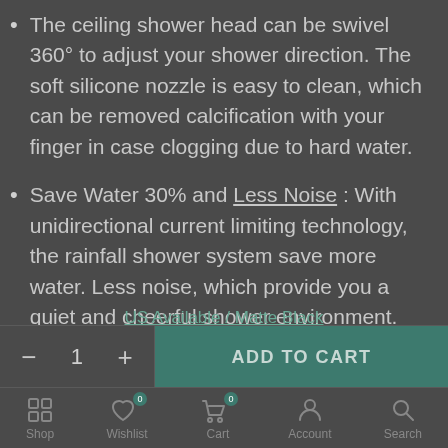The ceiling shower head can be swivel 360° to adjust your shower direction. The soft silicone nozzle is easy to clean, which can be removed calcification with your finger in case clogging due to hard water.
Save Water 30% and Less Noise : With unidirectional current limiting technology, the rainfall shower system save more water. Less noise, which provide you a quiet and cheerful shower environment.
US Available / Matte Black
− 1 + ADD TO CART
Shop  Wishlist  Cart  Account  Search